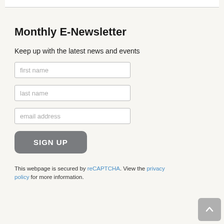Monthly E-Newsletter
Keep up with the latest news and events
first name
last name
email address
SIGN UP
This webpage is secured by reCAPTCHA. View the privacy policy for more information.